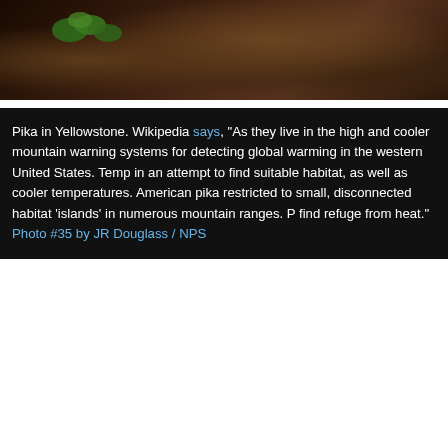[Figure (photo): Close-up photo of a pika (small mammal) among dark rocks with green leaves/vegetation visible, dark brownish tones]
Pika in Yellowstone. Wikipedia says, “As they live in the high and cooler mountain warning systems for detecting global warming in the western United States. Temp in an attempt to find suitable habitat, as well as cooler temperatures. American pika restricted to small, disconnected habitat ‘islands’ in numerous mountain ranges. find refuge from heat.” Photo #35 by JR Douglass / NPS
[Figure (photo): Night or twilight sky photo showing deep blue sky gradient from dark at top to lighter blue in middle, with dark tree silhouettes visible at the bottom edge]